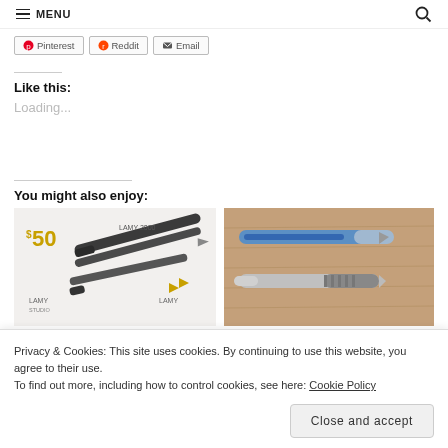MENU
[Figure (screenshot): Social share buttons: Pinterest, Reddit, Email]
Like this:
Loading...
You might also enjoy:
[Figure (photo): Lamy 2000 pen advertisement showing pens with $50 price tag]
[Figure (photo): Photo of two fountain pens on a wooden surface]
Privacy & Cookies: This site uses cookies. By continuing to use this website, you agree to their use.
To find out more, including how to control cookies, see here: Cookie Policy
Close and accept